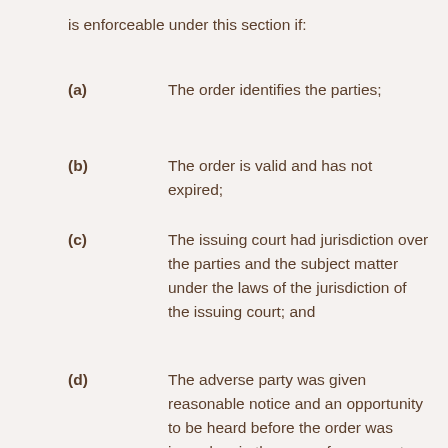is enforceable under this section if:
(a)   The order identifies the parties;
(b)   The order is valid and has not expired;
(c)   The issuing court had jurisdiction over the parties and the subject matter under the laws of the jurisdiction of the issuing court; and
(d)   The adverse party was given reasonable notice and an opportunity to be heard before the order was issued or, in the case of an ex parte order, the adverse party was given reasonable notice and had or will have an opportunity to be heard within a reasonable time after the